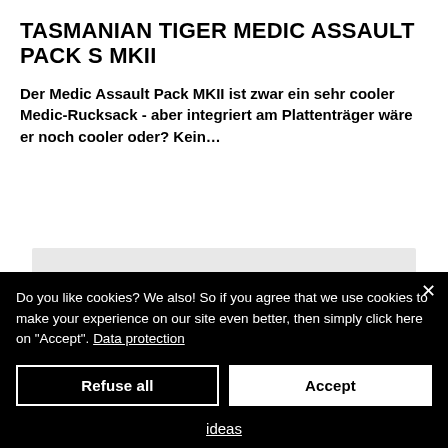TASMANIAN TIGER MEDIC ASSAULT PACK S MKII
Der Medic Assault Pack MKII ist zwar ein sehr cooler Medic-Rucksack - aber integriert am Plattenträger wäre er noch cooler oder? Kein…
[Figure (other): Pagination control showing 1/2 with left and right arrow buttons on a grey background]
Do you like cookies? We also! So if you agree that we use cookies to make your experience on our site even better, then simply click here on &quot;Accept&quot;. Data protection
Refuse all
Accept
ideas